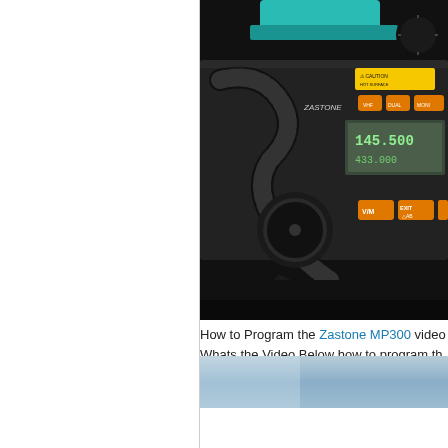[Figure (photo): Close-up photo of a Zastone MP300 mobile radio transceiver mounted on a bracket, showing orange buttons labeled V/M, EXIT/AB, orange function buttons at top, a display screen, microphone cable, and a yellow caution label on the top surface.]
How to Program the Zastone MP300 video
Whats the Video Below how to program th
[Figure (screenshot): Partial view of a video thumbnail with a light blue/grey background.]